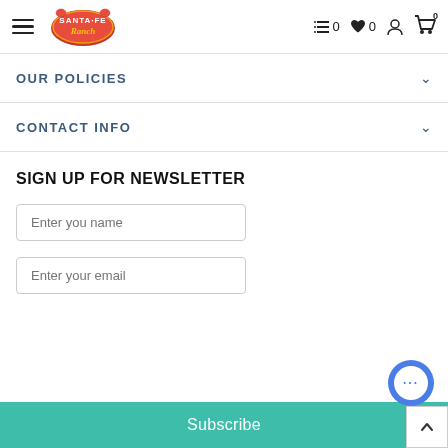[Figure (logo): Santa Fe Ranch logo with hamburger menu on the left side of navigation header]
0  0
OUR POLICIES
CONTACT INFO
SIGN UP FOR NEWSLETTER
Enter you name
Enter your email
Subscribe